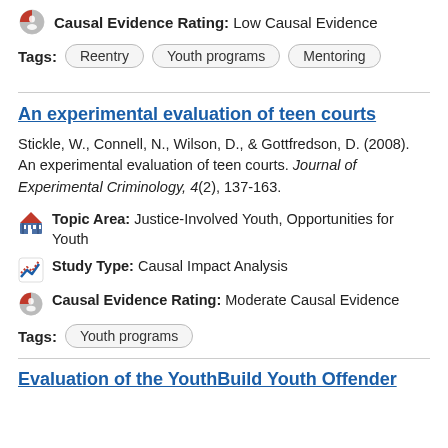Causal Evidence Rating: Low Causal Evidence
Tags: Reentry  Youth programs  Mentoring
An experimental evaluation of teen courts
Stickle, W., Connell, N., Wilson, D., & Gottfredson, D. (2008). An experimental evaluation of teen courts. Journal of Experimental Criminology, 4(2), 137-163.
Topic Area: Justice-Involved Youth, Opportunities for Youth
Study Type: Causal Impact Analysis
Causal Evidence Rating: Moderate Causal Evidence
Tags: Youth programs
Evaluation of the YouthBuild Youth Offender